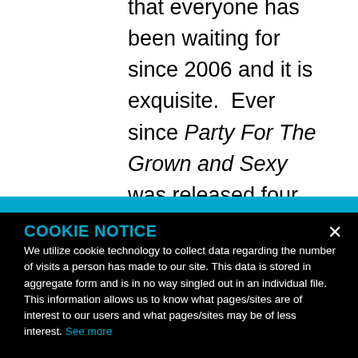that everyone has been waiting for since 2006 and it is exquisite.   Ever since Party For The Grown and Sexy was released four years ago, the man who
COOKIE NOTICE
We utilize cookie technology to collect data regarding the number of visits a person has made to our site. This data is stored in aggregate form and is in no way singled out in an individual file. This information allows us to know what pages/sites are of interest to our users and what pages/sites may be of less interest. See more